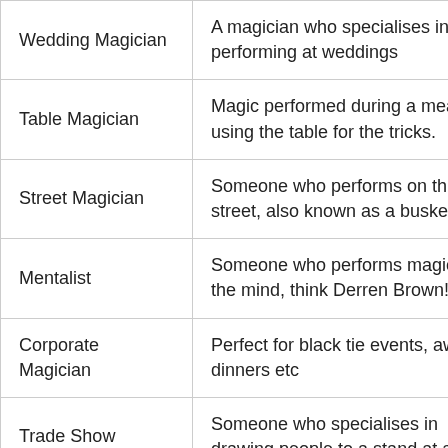| Wedding Magician | A magician who specialises in performing at weddings |
| Table Magician | Magic performed during a meal using the table for the tricks. |
| Street Magician | Someone who performs on the street, also known as a busker. |
| Mentalist | Someone who performs magic with the mind, think Derren Brown! |
| Corporate Magician | Perfect for black tie events, awards dinners etc |
| Trade Show | Someone who specialises in drawing people to a stand at a |